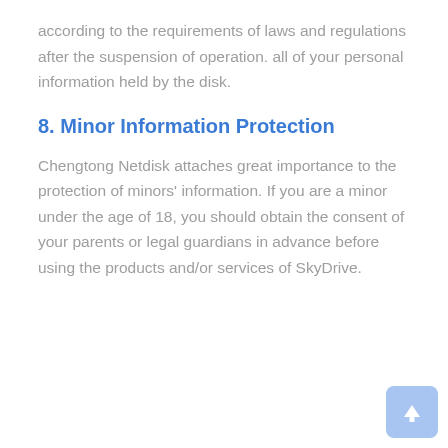according to the requirements of laws and regulations after the suspension of operation. all of your personal information held by the disk.
8. Minor Information Protection
Chengtong Netdisk attaches great importance to the protection of minors' information. If you are a minor under the age of 18, you should obtain the consent of your parents or legal guardians in advance before using the products and/or services of SkyDrive.